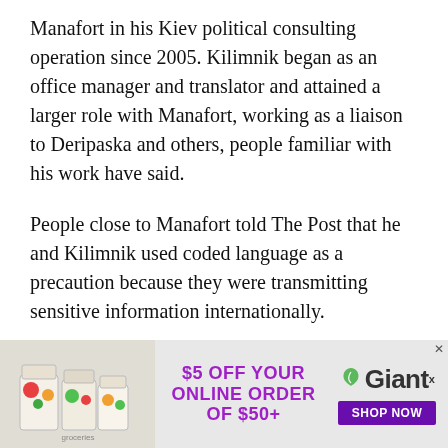Manafort in his Kiev political consulting operation since 2005. Kilimnik began as an office manager and translator and attained a larger role with Manafort, working as a liaison to Deripaska and others, people familiar with his work have said.
People close to Manafort told The Post that he and Kilimnik used coded language as a precaution because they were transmitting sensitive information internationally.
In late July, eight days after Trump delivered his GOP nomination acceptance speech in Cleveland, Kilimnik wrote Manafort with an update, according to people familiar with the email exchange.
[Figure (infographic): Advertisement banner for Giant grocery store: '$5 OFF YOUR ONLINE ORDER OF $50+' with Giant logo and 'SHOP NOW' button, alongside an image of grocery bags.]